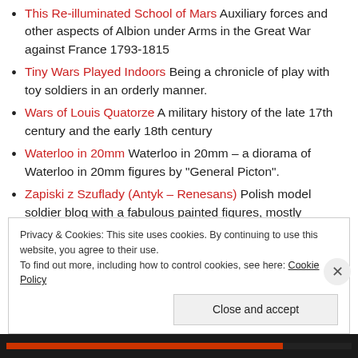This Re-illuminated School of Mars Auxiliary forces and other aspects of Albion under Arms in the Great War against France 1793-1815
Tiny Wars Played Indoors Being a chronicle of play with toy soldiers in an orderly manner.
Wars of Louis Quatorze A military history of the late 17th century and the early 18th century
Waterloo in 20mm Waterloo in 20mm – a diorama of Waterloo in 20mm figures by "General Picton".
Zapiski z Szuflady (Antyk – Renesans) Polish model soldier blog with a fabulous painted figures, mostly ancients.
Privacy & Cookies: This site uses cookies. By continuing to use this website, you agree to their use. To find out more, including how to control cookies, see here: Cookie Policy
Close and accept